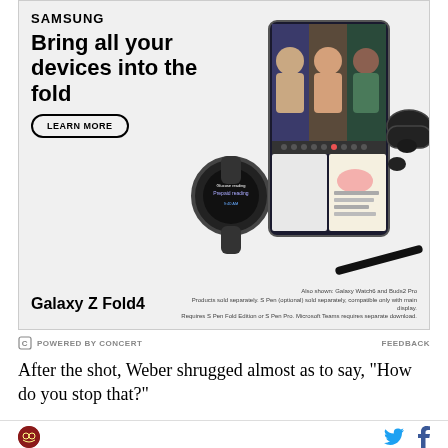[Figure (photo): Samsung advertisement for Galaxy Z Fold4 showing Samsung products including the Galaxy Z Fold4 phone with video call, Galaxy Watch6, Buds2 Pro, and S Pen on gray background. Headline reads 'Bring all your devices into the fold' with a LEARN MORE button.]
POWERED BY CONCERT   FEEDBACK
After the shot, Weber shrugged almost as to say, “How do you stop that?”
[Figure (logo): Site logo circular badge in dark red/maroon with illustrated design, Twitter bird icon in blue, and Facebook f icon in dark blue]